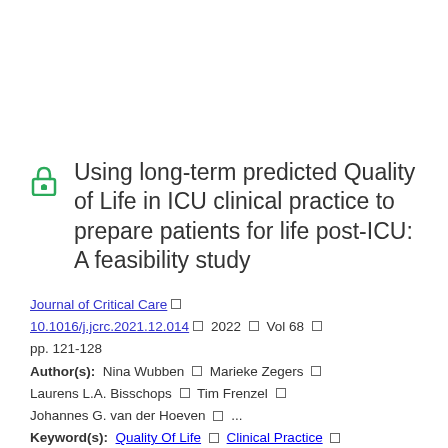Using long-term predicted Quality of Life in ICU clinical practice to prepare patients for life post-ICU: A feasibility study
Journal of Critical Care □ 10.1016/j.jcrc.2021.12.014 □ 2022 □ Vol 68 □ pp. 121-128
Author(s): Nina Wubben □ Marieke Zegers □ Laurens L.A. Bisschops □ Tim Frenzel □ Johannes G. van der Hoeven □ ...
Keyword(s): Quality Of Life □ Clinical Practice □ Feasibility Study